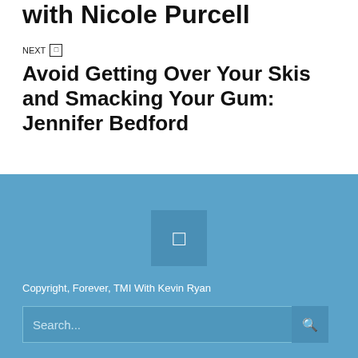with Nicole Purcell
NEXT →
Avoid Getting Over Your Skis and Smacking Your Gum: Jennifer Bedford
[Figure (other): Square icon button with a white symbol on blue-grey background, centered in footer area]
Copyright, Forever, TMI With Kevin Ryan
Search...